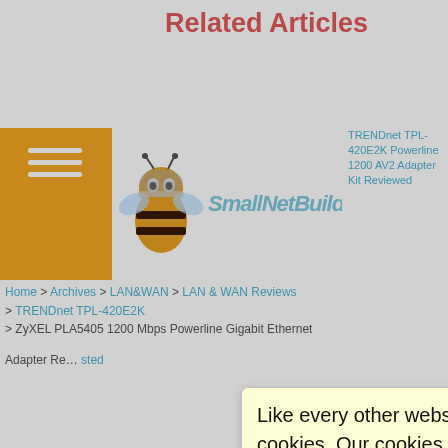Related Articles
[Figure (screenshot): SmallNetBuilder website screenshot with bee mascot logo, orange hamburger menu bar, and navigation header]
TRENDnet TPL-420E2K Powerline 1200 AV2 Adapter Kit Reviewed
Home > Archives > LAN&WAN > LAN & WAN Reviews > TRENDnet TPL-420E2K > ZyXEL PLA5405 1200 Mbps Powerline Gigabit Ethernet Adapter Reviewed
Wi-Rou ... n Charts ... ewed ... igabit ... Gigabit
Like every other website on the planet, SmallNetBuilder uses cookies. Our cookies track login status, but we only allow admins to log in anyway, so those don't apply to you. Any other cookies you pick up during your visit come from advertisers, which we don't control.
If you continue to use the site, you agree to tolerate our use of cookies. Thank you!